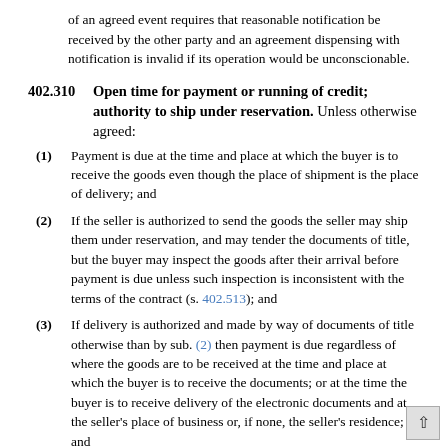of an agreed event requires that reasonable notification be received by the other party and an agreement dispensing with notification is invalid if its operation would be unconscionable.
402.310  Open time for payment or running of credit; authority to ship under reservation. Unless otherwise agreed:
(1) Payment is due at the time and place at which the buyer is to receive the goods even though the place of shipment is the place of delivery; and
(2) If the seller is authorized to send the goods the seller may ship them under reservation, and may tender the documents of title, but the buyer may inspect the goods after their arrival before payment is due unless such inspection is inconsistent with the terms of the contract (s. 402.513); and
(3) If delivery is authorized and made by way of documents of title otherwise than by sub. (2) then payment is due regardless of where the goods are to be received at the time and place at which the buyer is to receive the documents; or at the time the buyer is to receive delivery of the electronic documents and at the seller's place of business or, if none, the seller's residence; and
(4) Where the seller is required or authorized to ship the goods credit the credit period runs from the time of shipment but